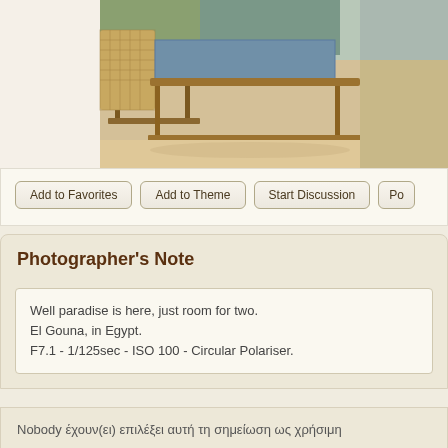[Figure (photo): Beach chairs/loungers on sandy beach, partially cropped, showing wooden frame sun loungers with teal cushion and wicker/rattan chair on sandy beach]
Add to Favorites
Add to Theme
Start Discussion
Po...
Photographer's Note
Well paradise is here, just room for two.
El Gouna, in Egypt.
F7.1 - 1/125sec - ISO 100 - Circular Polariser.
Nobody έχουν(ει) επιλέξει αυτή τη σημείωση ως χρήσιμη
Critiques | Translate ▼